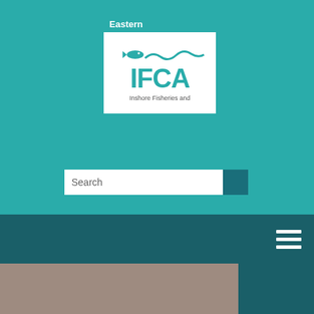[Figure (logo): Eastern IFCA (Inshore Fisheries and Conservation Authority) logo: white box with teal header reading 'Eastern', fish and wave SVG, bold teal 'IFCA' text, subtitle 'Inshore Fisheries and']
Search
t. 01553 775321
E. mail@eastern-ifca.gov.uk